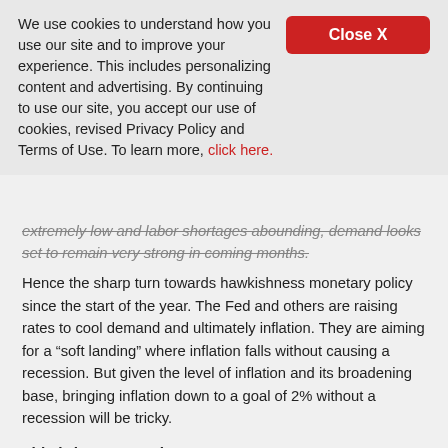We use cookies to understand how you use our site and to improve your experience. This includes personalizing content and advertising. By continuing to use our site, you accept our use of cookies, revised Privacy Policy and Terms of Use. To learn more, click here.
extremely low and labor shortages abounding, demand looks set to remain very strong in coming months.
Hence the sharp turn towards hawkishness monetary policy since the start of the year. The Fed and others are raising rates to cool demand and ultimately inflation. They are aiming for a “soft landing” where inflation falls without causing a recession. But given the level of inflation and its broadening base, bringing inflation down to a goal of 2% without a recession will be tricky.
This brings us to chart 3
Interest rates
Chart: 10-year government bond yields, %